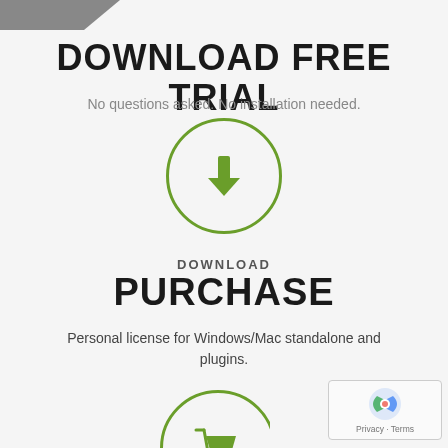DOWNLOAD FREE TRIAL
No questions asked. No installation needed.
[Figure (illustration): Green circle with download arrow icon]
DOWNLOAD
PURCHASE
Personal license for Windows/Mac standalone and plugins.
[Figure (illustration): Partial green circle with shopping cart icon (cut off at bottom)]
[Figure (illustration): reCAPTCHA badge with Privacy and Terms links]